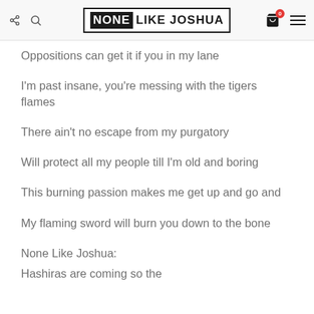NONE LIKE JOSHUA
Oppositions can get it if you in my lane
I'm past insane, you're messing with the tigers flames
There ain't no escape from my purgatory
Will protect all my people till I'm old and boring
This burning passion makes me get up and go and
My flaming sword will burn you down to the bone
None Like Joshua:
Hashiras are coming so the